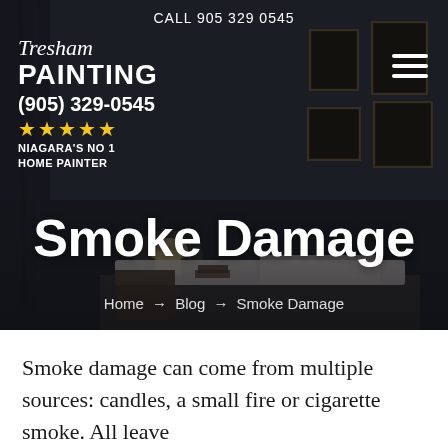CALL 905 329 0545
[Figure (logo): Tresham Painting logo with script Tresham text, bold PAINTING, phone number (905) 329-0545, five gold stars, and tagline NIAGARA'S NO 1 HOME PAINTER on dark background]
[Figure (photo): Dark moody bedroom interior with framed pictures on wall, lamp on bedside table, used as hero background image]
Smoke Damage
Home → Blog → Smoke Damage
Smoke damage can come from multiple sources: candles, a small fire or cigarette smoke. All leave